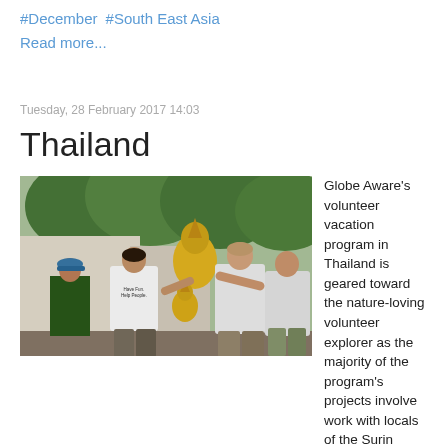#December  #South East Asia
Read more...
Tuesday, 28 February 2017 14:03
Thailand
[Figure (photo): Group of volunteers in white t-shirts moving a large golden Buddha statue outdoors, with lush green trees in the background. One volunteer wears a shirt reading 'Have Fun. Help People.']
Globe Aware's volunteer vacation program in Thailand is geared toward the nature-loving volunteer explorer as the majority of the program's projects involve work with locals of the Surin province to preserve the native elephant habitat. Projects will include preparing and planting food crops, construction of shade